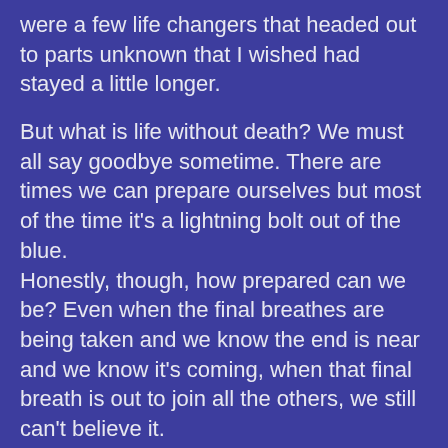were a few life changers that headed out to parts unknown that I wished had stayed a little longer.
But what is life without death? We must all say goodbye sometime. There are times we can prepare ourselves but most of the time it's a lightning bolt out of the blue. Honestly, though, how prepared can we be? Even when the final breathes are being taken and we know the end is near and we know it's coming, when that final breath is out to join all the others, we still can't believe it.
Another year is coming and it's just a few days away. This year has been dark. We must believe that 2017 will shine some light.